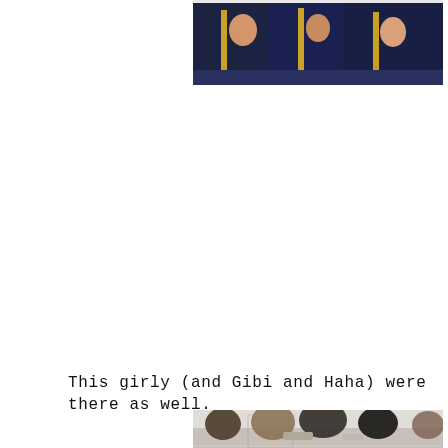[Figure (photo): Partial photo showing people seated wearing dark navy blue graduation gowns with yellow/gold accents, cropped at top of page]
This girly (and Gibi and Haha) were there as well.
[Figure (photo): Partial photo at bottom of page showing a group of people seated at a table, partially cut off]